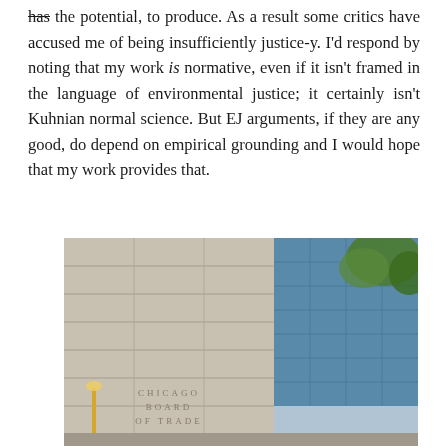has the potential, to produce. As a result some critics have accused me of being insufficiently justice-y. I'd respond by noting that my work is normative, even if it isn't framed in the language of environmental justice; it certainly isn't Kuhnian normal science. But EJ arguments, if they are any good, do depend on empirical grounding and I would hope that my work provides that.
[Figure (photo): Photo of the Chicago Board of Trade building facade (stone exterior with engraved text 'CHICAGO BOARD OF TRADE') with a glass office building and green tree visible to the right, and a person partially visible at the bottom.]